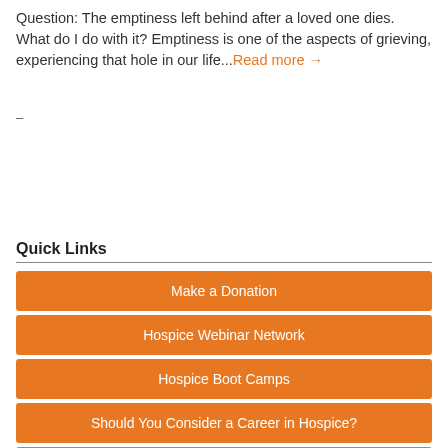Question: The emptiness left behind after a loved one dies. What do I do with it? Emptiness is one of the aspects of grieving, experiencing that hole in our life...Read more →
–
Quick Links
Make a Donation
Hospice Webinar Network
Hospice Boot Camps
Should You Consider a Career in Hospice?
Find a Hospice or Palliative Care Provider Member